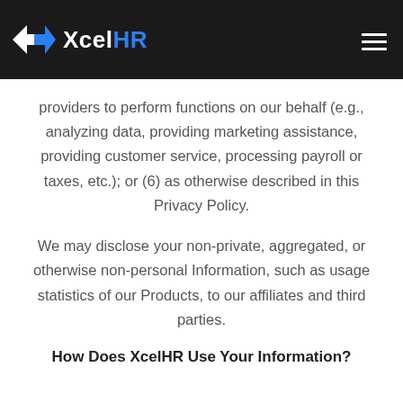XcelHR
providers to perform functions on our behalf (e.g., analyzing data, providing marketing assistance, providing customer service, processing payroll or taxes, etc.); or (6) as otherwise described in this Privacy Policy.
We may disclose your non-private, aggregated, or otherwise non-personal Information, such as usage statistics of our Products, to our affiliates and third parties.
How Does XcelHR Use Your Information?